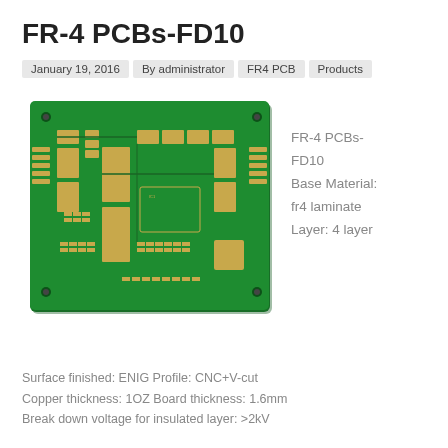FR-4 PCBs-FD10
January 19, 2016  By administrator  FR4 PCB  Products
[Figure (photo): Green FR-4 PCB board with gold/yellow pads, traces, and components on a 4-layer printed circuit board]
FR-4 PCBs-FD10
Base Material: fr4 laminate
Layer: 4 layer
Surface finished: ENIG Profile: CNC+V-cut
Copper thickness: 1OZ Board thickness: 1.6mm
Break down voltage for insulated layer: >2kV